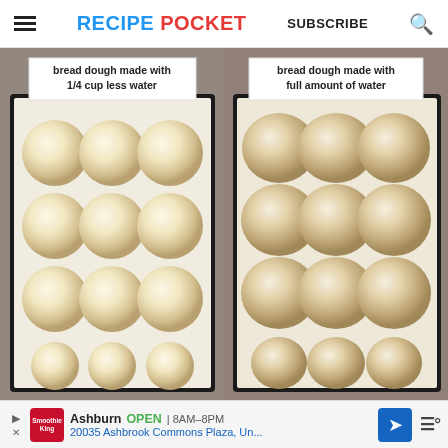RECIPE POCKET   SUBSCRIBE
[Figure (photo): Side-by-side comparison of bread dough balls in baking trays. Left tray shows dough made with 1/4 cup less water — smooth, round, pale yellow balls in a 3x4 grid on parchment paper. Right tray shows dough made with full amount of water — rougher, slightly irregular beige balls, also 3x4 grid.]
bread dough made with 1/4 cup less water
bread dough made with full amount of water
Ashburn  OPEN | 8AM–8PM  20035 Ashbrook Commons Plaza, Un...